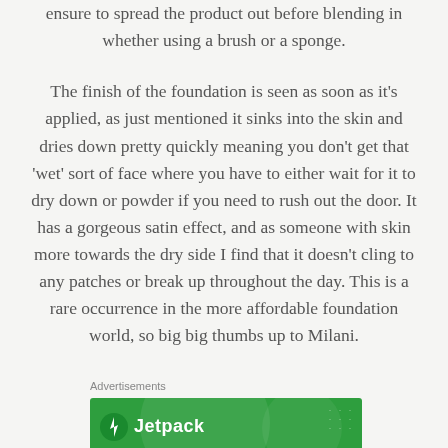ensure to spread the product out before blending in whether using a brush or a sponge.
The finish of the foundation is seen as soon as it's applied, as just mentioned it sinks into the skin and dries down pretty quickly meaning you don't get that 'wet' sort of face where you have to either wait for it to dry down or powder if you need to rush out the door. It has a gorgeous satin effect, and as someone with skin more towards the dry side I find that it doesn't cling to any patches or break up throughout the day. This is a rare occurrence in the more affordable foundation world, so big big thumbs up to Milani.
Advertisements
[Figure (other): Green advertisement banner for Jetpack with circular decorative elements and the Jetpack logo with lightning bolt icon]